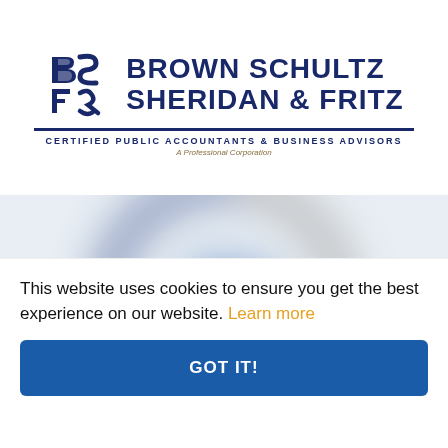[Figure (logo): Brown Schultz Sheridan & Fritz logo with BSS&F icon and text 'CERTIFIED PUBLIC ACCOUNTANTS & BUSINESS ADVISORS, A Professional Corporation']
[Figure (other): Blurred large registered trademark (R) symbol in blue and grey]
This website uses cookies to ensure you get the best experience on our website. Learn more
GOT IT!